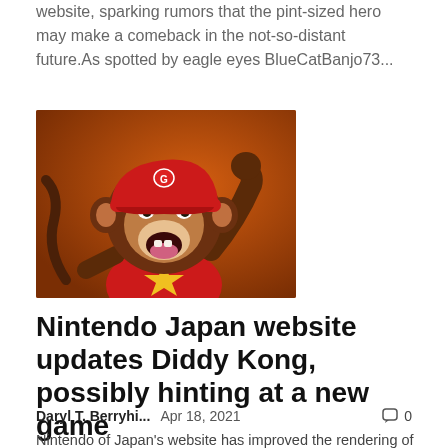website, sparking rumors that the pint-sized hero may make a comeback in the not-so-distant future.As spotted by eagle eyes BlueCatBanjo73...
[Figure (photo): Diddy Kong character render — a cartoon monkey wearing a red baseball cap and red vest with a yellow star, arm raised, mouth open, on an orange-brown background]
Nintendo Japan website updates Diddy Kong, possibly hinting at a new game
Daryl T. Berryhi...   Apr 18, 2021   💬 0
Nintendo of Japan's website has improved the rendering of Diddy Kong, suggesting the Toughest Kong could return in a new title